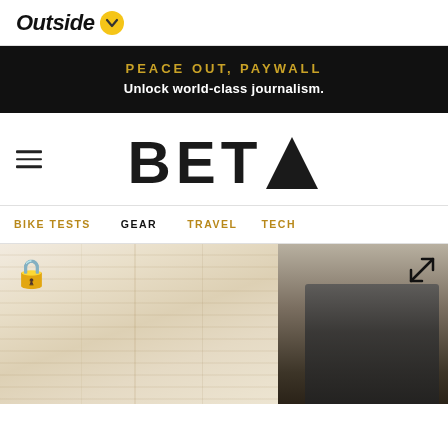Outside
PEACE OUT, PAYWALL
Unlock world-class journalism.
BETA
BIKE TESTS  GEAR  TRAVEL  TECH
[Figure (photo): Close-up photo of a light wood panel surface on the left and dark metallic bicycle component tool on the right, with a gold padlock icon in the lower-left corner and an expand/resize icon in the upper-right corner.]